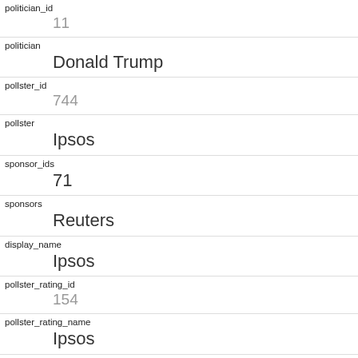| field | value |
| --- | --- |
| politician_id | 11 |
| politician | Donald Trump |
| pollster_id | 744 |
| pollster | Ipsos |
| sponsor_ids | 71 |
| sponsors | Reuters |
| display_name | Ipsos |
| pollster_rating_id | 154 |
| pollster_rating_name | Ipsos |
| fte_grade | B- |
| sample_size |  |